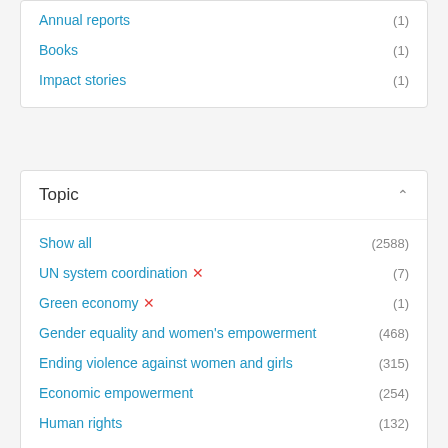Annual reports (1)
Books (1)
Impact stories (1)
Topic
Show all (2588)
UN system coordination ✕ (7)
Green economy ✕ (1)
Gender equality and women's empowerment (468)
Ending violence against women and girls (315)
Economic empowerment (254)
Human rights (132)
COVID-19 (124)
Peace and security (117)
Humanitarian action (88)
Show more